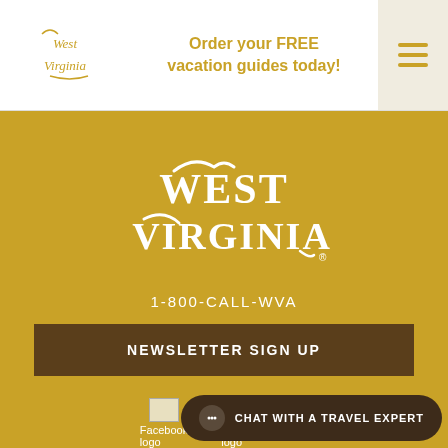[Figure (logo): West Virginia state tourism logo in gold/tan color, small version in header]
Order your FREE vacation guides today!
[Figure (logo): West Virginia state tourism logo in white, large version on gold background]
1-800-CALL-WVA
NEWSLETTER SIGN UP
[Figure (logo): Facebook logo icon]
Facebook logo
[Figure (logo): Instagram logo icon]
Insta logo
[Figure (logo): Third social media logo icon]
logo
CHAT WITH A TRAVEL EXPERT